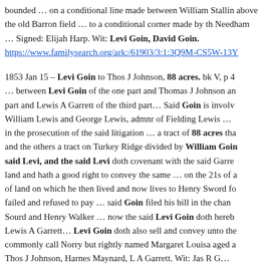bounded … on a conditional line made between William Stallin above the old Barron field … to a conditional corner made by th Needham … Signed: Elijah Harp. Wit: Levi Goin, David Goin.
https://www.familysearch.org/ark:/61903/3:1:3Q9M-CS5W-13Y
1853 Jan 15 – Levi Goin to Thos J Johnson, 88 acres. bk V, p 4 … between Levi Goin of the one part and Thomas J Johnson an part and Lewis A Garrett of the third part… Said Goin is involv William Lewis and George Lewis, admnr of Fielding Lewis … in the prosecution of the said litigation … a tract of 88 acres tha and the others a tract on Turkey Ridge divided by William Goin said Levi, and the said Levi doth covenant with the said Garre land and hath a good right to convey the same … on the 21s of a of land on which he then lived and now lives to Henry Sword fo failed and refused to pay … said Goin filed his bill in the chan Sourd and Henry Walker … now the said Levi Goin doth hereb Lewis A Garrett… Levi Goin doth also sell and convey unto the commonly call Norry but rightly named Margaret Louisa aged a Thos J Johnson, Harnes Maynard, L A Garrett. Wit: Jas R G…